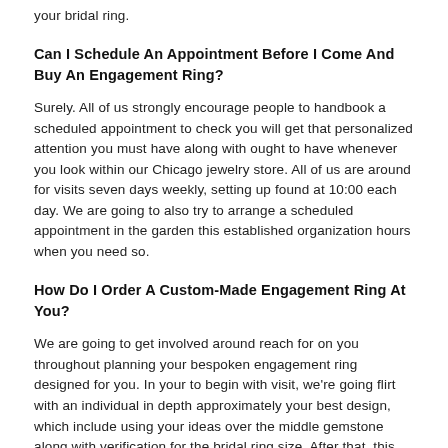your bridal ring.
Can I Schedule An Appointment Before I Come And Buy An Engagement Ring?
Surely. All of us strongly encourage people to handbook a scheduled appointment to check you will get that personalized attention you must have along with ought to have whenever you look within our Chicago jewelry store. All of us are around for visits seven days weekly, setting up found at 10:00 each day. We are going to also try to arrange a scheduled appointment in the garden this established organization hours when you need so.
How Do I Order A Custom-Made Engagement Ring At You?
We are going to get involved around reach for on you throughout planning your bespoken engagement ring designed for you. In your to begin with visit, we're going flirt with an individual in depth approximately your best design, which include using your ideas over the middle gemstone along with verification for the bridal ring size. After that, this jewelry creators can create a laptop visualization for the bridal ring...